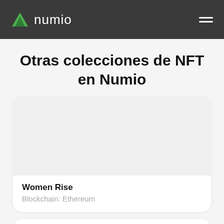numio
Otras colecciones de NFT en Numio
[Figure (other): NFT collection card for Women Rise showing a blank image area with title 'Women Rise' and subtitle 'Blockchain: Ethereum']
[Figure (other): Partial NFT collection card visible at bottom of page]